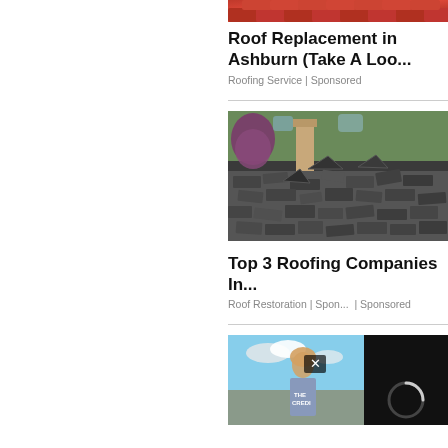[Figure (photo): Partial view of red roof tiles at top of image]
Roof Replacement in Ashburn (Take A Loo...
Roofing Service | Sponsored
[Figure (photo): Damaged shingle roof with broken and displaced shingles, trees visible in background]
Top 3 Roofing Companies In...
Roof Restoration | Spon...  | Sponsored
[Figure (screenshot): Screenshot of a video player overlay showing a woman standing outdoors with text overlay THE CREDI, with close (X) button and loading spinner on dark right panel]